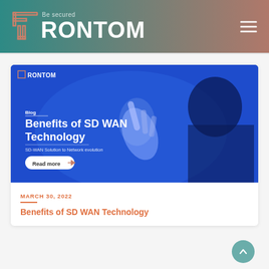FRONTOM — Be secured
[Figure (screenshot): Blog hero image for 'Benefits of SD WAN Technology' with blue technology background, person pointing, FRONTOM logo, Blog label, title text, subtitle 'SD-WAN Solution to Network evolution', and Read more button]
MARCH 30, 2022
Benefits of SD WAN Technology